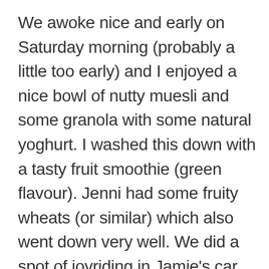We awoke nice and early on Saturday morning (probably a little too early) and I enjoyed a nice bowl of nutty muesli and some granola with some natural yoghurt. I washed this down with a tasty fruit smoothie (green flavour). Jenni had some fruity wheats (or similar) which also went down very well. We did a spot of joyriding in Jamie’s car before scraping the ice off of mine. Lizzy and Jamie waved goodbye from the bedroom window and we made our way towards the M4. Absolutely nothing of interest happened on the M4 which I suspect tallies with the majority of other M4 users. We thought we had taken a wrong turning when we ended